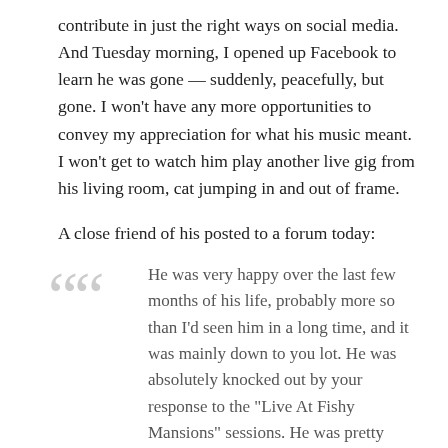contribute in just the right ways on social media. And Tuesday morning, I opened up Facebook to learn he was gone — suddenly, peacefully, but gone. I won't have any more opportunities to convey my appreciation for what his music meant. I won't get to watch him play another live gig from his living room, cat jumping in and out of frame.
A close friend of his posted to a forum today:
He was very happy over the last few months of his life, probably more so than I'd seen him in a long time, and it was mainly down to you lot. He was absolutely knocked out by your response to the "Live At Fishy Mansions" sessions. He was pretty much broke before he started doing them but everyone's generosity